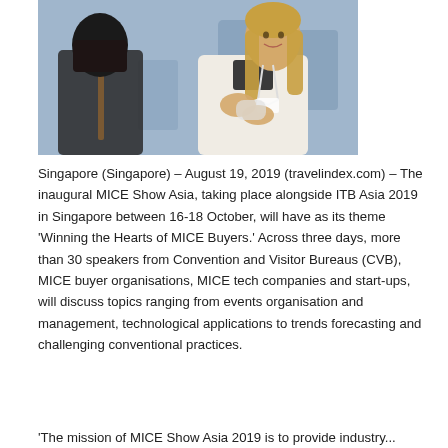[Figure (photo): Two women in conversation at what appears to be a conference or trade show. One woman with dark hair in a dark outfit faces away from camera, the other with long blonde hair wearing a white blazer and conference lanyard is speaking and gesturing with her hands.]
Singapore (Singapore) – August 19, 2019 (travelindex.com) – The inaugural MICE Show Asia, taking place alongside ITB Asia 2019 in Singapore between 16-18 October, will have as its theme 'Winning the Hearts of MICE Buyers.' Across three days, more than 30 speakers from Convention and Visitor Bureaus (CVB), MICE buyer organisations, MICE tech companies and start-ups, will discuss topics ranging from events organisation and management, technological applications to trends forecasting and challenging conventional practices.
'The mission of MICE Show Asia 2019 is to provide industry...